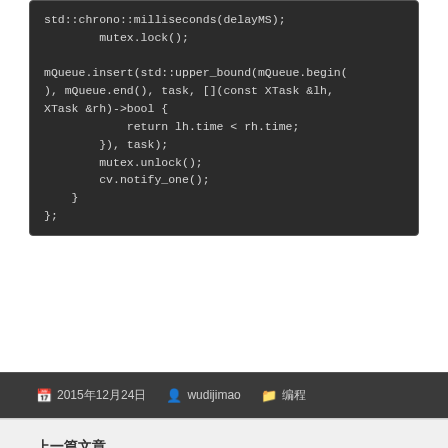[Figure (screenshot): Code block showing C++ code with mQueue.insert call, mutex operations, and closing braces on dark background]
📅 2015年12月24日  👤 wudijimao  📁 编程
上一篇文章